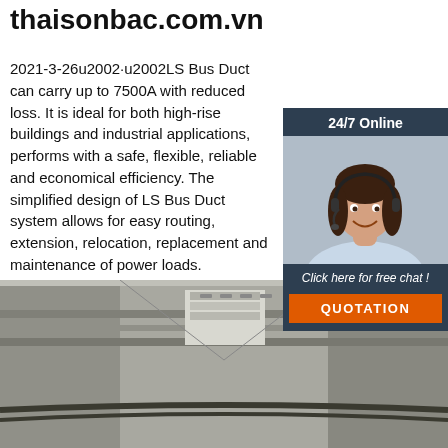thaisonbac.com.vn
2021-3-26u2002·u2002LS Bus Duct can carry up to 7500A with reduced loss. It is ideal for both high-rise buildings and industrial applications, performs with a safe, flexible, reliable and economical efficiency. The simplified design of LS Bus Duct system allows for easy routing, extension, relocation, replacement and maintenance of power loads.
[Figure (other): Green 'Get Price' button]
[Figure (photo): Customer service representative with headset, 24/7 Online chat widget with 'Click here for free chat!' and QUOTATION button]
[Figure (photo): Interior photo of industrial bus duct installation showing metal duct trays running along ceiling of industrial corridor]